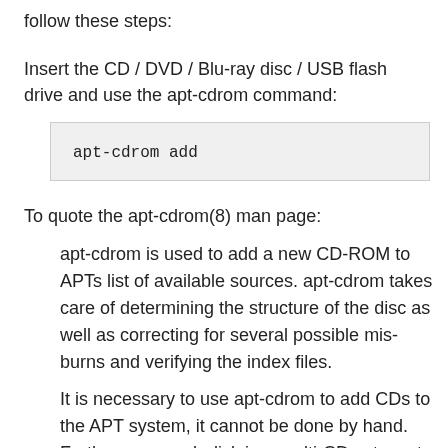follow these steps:
Insert the CD / DVD / Blu-ray disc / USB flash drive and use the apt-cdrom command:
apt-cdrom add
To quote the apt-cdrom(8) man page:
apt-cdrom is used to add a new CD-ROM to APTs list of available sources. apt-cdrom takes care of determining the structure of the disc as well as correcting for several possible mis-burns and verifying the index files.
It is necessary to use apt-cdrom to add CDs to the APT system, it cannot be done by hand. Furthermore each disk in a multi-CD set must be